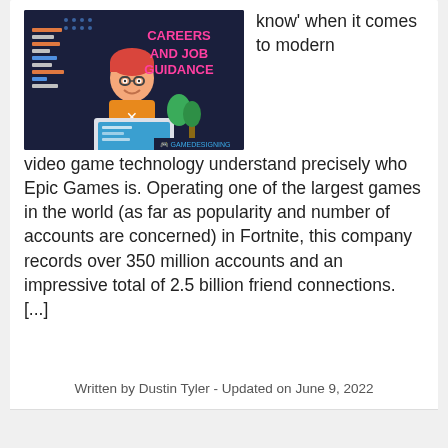[Figure (illustration): GameDesigning careers and job guidance promotional image with illustrated game designer character at laptop, dark navy background with pink and orange text reading CAREERS AND JOB GUIDANCE]
know' when it comes to modern video game technology understand precisely who Epic Games is. Operating one of the largest games in the world (as far as popularity and number of accounts are concerned) in Fortnite, this company records over 350 million accounts and an impressive total of 2.5 billion friend connections. [...]
Written by Dustin Tyler - Updated on June 9, 2022